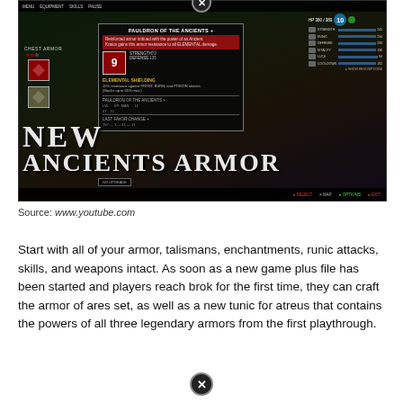[Figure (screenshot): God of War game screenshot showing the New Game Plus armor selection screen with 'NEW ANCIENTS ARMOR' text overlay, featuring Kratos and Atreus characters, UI panels showing armor stats including level 9 armor with strength and defense ratings, elemental shielding description, and HP/stat bars. A close button (X) appears at the top center.]
Source: www.youtube.com
Start with all of your armor, talismans, enchantments, runic attacks, skills, and weapons intact. As soon as a new game plus file has been started and players reach brok for the first time, they can craft the armor of ares set, as well as a new tunic for atreus that contains the powers of all three legendary armors from the first playthrough.